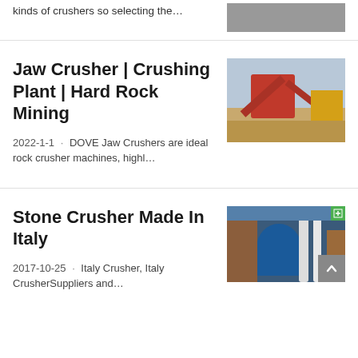kinds of crushers so selecting the…
[Figure (photo): Partial image of mining/crushing equipment at top right]
Jaw Crusher | Crushing Plant | Hard Rock Mining
2022-1-1 · DOVE Jaw Crushers are ideal rock crusher machines, highl…
[Figure (photo): Red jaw crusher machine at a mining site with sand pile]
Stone Crusher Made In Italy
2017-10-25 · Italy Crusher, Italy CrusherSuppliers and…
[Figure (photo): Blue industrial grinding/milling machine with pipes and metal structures]